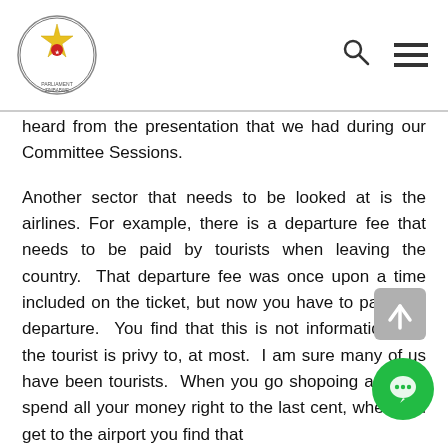Parliament of Zimbabwe logo with search and menu icons
heard from the presentation that we had during our Committee Sessions.
Another sector that needs to be looked at is the airlines. For example, there is a departure fee that needs to be paid by tourists when leaving the country.  That departure fee was once upon a time included on the ticket, but now you have to pay it on departure.  You find that this is not information that the tourist is privy to, at most.  I am sure many of us have been tourists.  When you go shopoing and you spend all your money right to the last cent, when you get to the airport you find that
you have to pay a departure fee, which you would have not prepared for.  The reason from the responsible